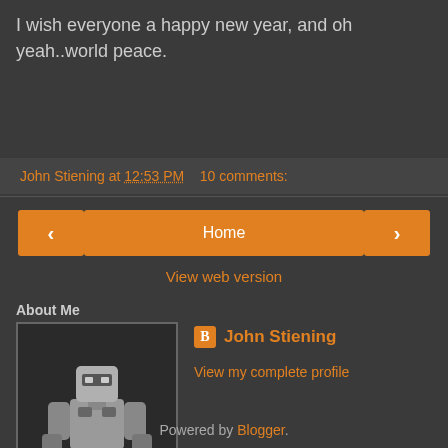I wish everyone a happy new year, and oh yeah..world peace.
John Stiening at 12:53 PM   10 comments:
< Home >
View web version
About Me
[Figure (photo): Profile image of a robot/mech figurine in grey and white colors]
John Stiening
View my complete profile
Powered by Blogger.